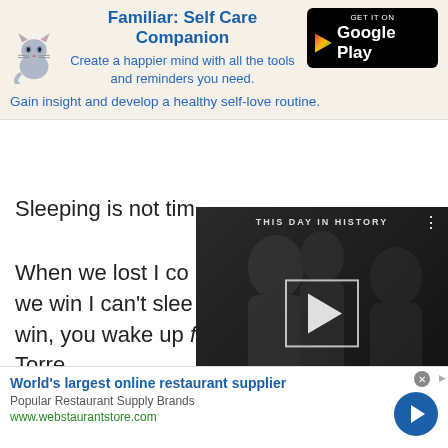[Figure (screenshot): Advertisement banner for Familiar: Self Care Companion app. Shows a cat illustration, app title, tagline 'Create a happier mind with all the tools and reminders you need.', Google Play download button, and tagline 'Gain insight and develop a healthy self-love routine.']
Sleeping is not tim
When we lost I co we win I can’t slee win, you wake up feeling better. — Joe Torre
[Figure (screenshot): Video player overlay showing 'THIS DAY IN HISTORY' with SEPTEMBER label, play button in a box, and video controls bar with mute icon, progress bar with blue dot, and fullscreen button. Dark background with silhouettes of people.]
[Figure (screenshot): Bottom advertisement for webstaurantstore.com. Title: 'World’s largest online restaurant supplier', subtitle: 'Popular Restaurant Supply Brands', URL: www.webstaurantstore.com, with a blue circular arrow button.]